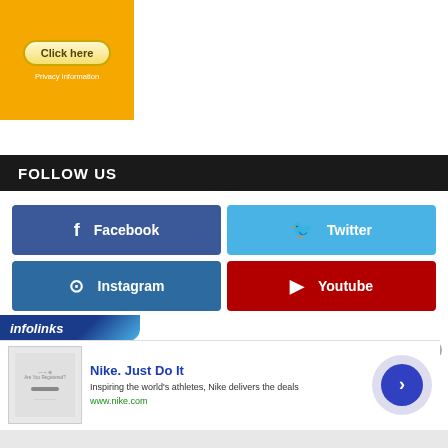[Figure (other): Orange advertisement box with 'Click here' button and 'Privacy Information' text]
FOLLOW US
[Figure (other): Facebook social media button, blue background with Facebook icon]
[Figure (other): Twitter social media button, light blue background with bird icon]
[Figure (other): Instagram social media button, dark blue background with Instagram icon]
[Figure (other): Youtube social media button, red background with play icon]
[Figure (other): Infolinks advertisement banner: Nike. Just Do It - Inspiring the world's athletes, Nike delivers the deals - www.nike.com]